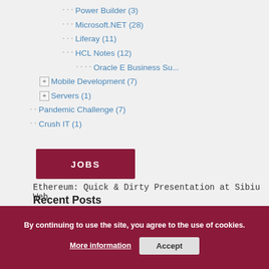Power Builder (3)
Microsoft.NET (28)
Liferay (11)
HCL Notes (12)
Oracle E Business Su...
Mobile Development (7)
Servers (1)
Pandemic Challenge (7)
Crush IT (1)
JOBS
Recent Posts
Protected: It's never too early to start: how to Keep
Ethereum: Quick & Dirty Presentation at Sibiu Web
By continuing to use the site, you agree to the use of cookies.
More information
Accept